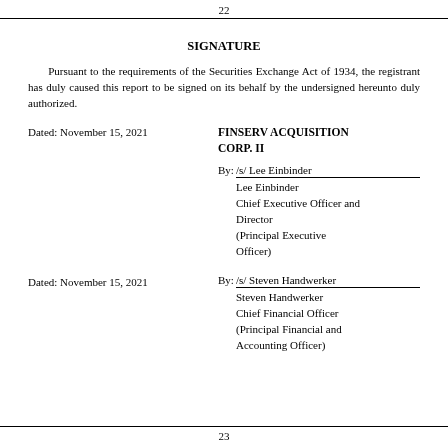22
SIGNATURE
Pursuant to the requirements of the Securities Exchange Act of 1934, the registrant has duly caused this report to be signed on its behalf by the undersigned hereunto duly authorized.
Dated: November 15, 2021
FINSERV ACQUISITION CORP. II
By: /s/ Lee Einbinder
Lee Einbinder
Chief Executive Officer and Director
(Principal Executive Officer)
Dated: November 15, 2021
By:/s/ Steven Handwerker
Steven Handwerker
Chief Financial Officer
(Principal Financial and Accounting Officer)
23